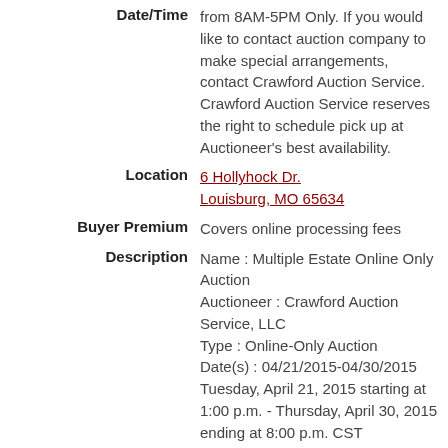Date/Time: from 8AM-5PM Only. If you would like to contact auction company to make special arrangements, contact Crawford Auction Service. Crawford Auction Service reserves the right to schedule pick up at Auctioneer's best availability.
Location: 6 Hollyhock Dr. Louisburg, MO 65634
Buyer Premium: Covers online processing fees
Description: Name : Multiple Estate Online Only Auction Auctioneer : Crawford Auction Service, LLC Type : Online-Only Auction Date(s) : 04/21/2015-04/30/2015 Tuesday, April 21, 2015 starting at 1:00 p.m. - Thursday, April 30, 2015 ending at 8:00 p.m. CST Preview Date/Time : No preview available Checkout Date/Time : Check out will be Monday, May 4th, 2015 from 8-5 p.m. CST for all winning bidders. Location : 6 Hollyhock Lane, Louisburg,